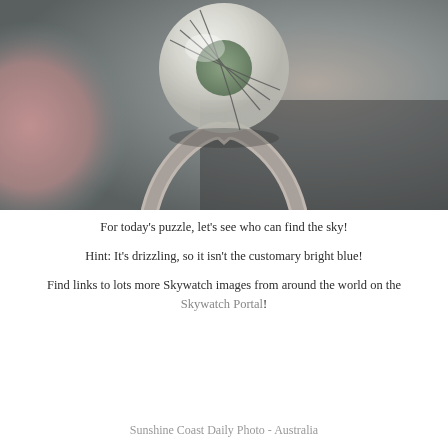[Figure (photo): Close-up macro photograph of a glass ball or crystal sphere with thin wires/cracks visible on its surface, resting on a curved metallic stand or ring. Background is blurred with warm pink and cool grey-green tones.]
For today's puzzle, let's see who can find the sky!
Hint: It's drizzling, so it isn't the customary bright blue!
Find links to lots more Skywatch images from around the world on the Skywatch Portal!
Sunshine Coast Daily Photo - Australia